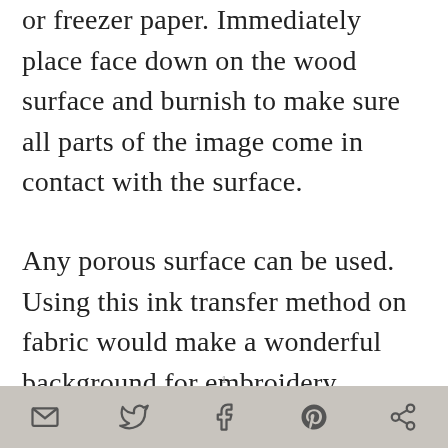or freezer paper. Immediately place face down on the wood surface and burnish to make sure all parts of the image come in contact with the surface.
Any porous surface can be used. Using this ink transfer method on fabric would make a wonderful background for embroidery. Transfer directly to stretched canvas for a quick start .
1